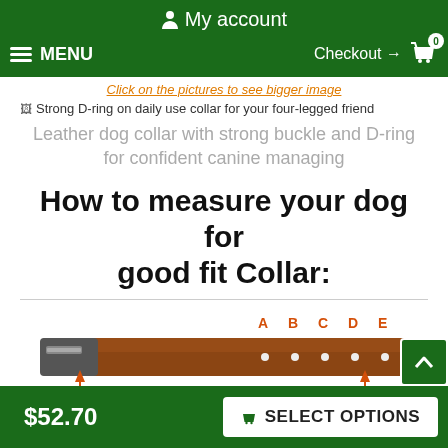My account
MENU  Checkout → 0
Click on the pictures to see bigger image
Strong D-ring on daily use collar for your four-legged friend
Leather dog collar with strong buckle and D-ring for confident canine managing
How to measure your dog for good fit Collar:
[Figure (illustration): Dog collar diagram showing belt with holes labeled A, B, C, D, E and a 'Neck size' measurement arrow spanning below the collar]
$52.70   SELECT OPTIONS